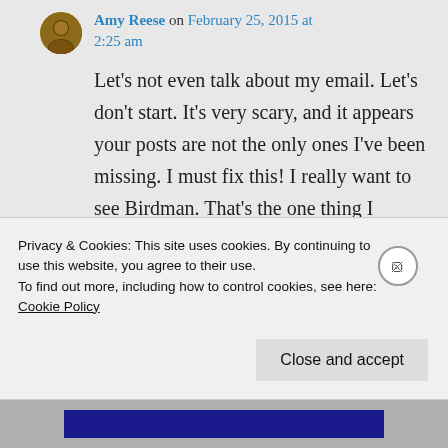Amy Reese on February 25, 2015 at 2:25 am
Let's not even talk about my email. Let's don't start. It's very scary, and it appears your posts are not the only ones I've been missing. I must fix this! I really want to see Birdman. That's the one thing I walked away with. And Boyhood. Those two are at the top of my list.
Privacy & Cookies: This site uses cookies. By continuing to use this website, you agree to their use.
To find out more, including how to control cookies, see here: Cookie Policy
Close and accept